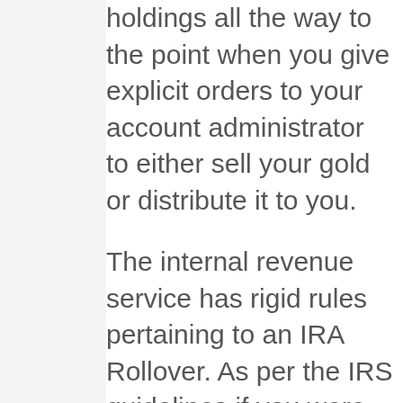holdings all the way to the point when you give explicit orders to your account administrator to either sell your gold or distribute it to you.
The internal revenue service has rigid rules pertaining to an IRA Rollover. As per the IRS guidelines if you were to do a Gold individual retirement account rollover, you would have 60 days from the date you get the funds to transfer the cash in the Gold IRA business or Custodian you have actually selected.
If you are withdrawing from an individual individual retirement